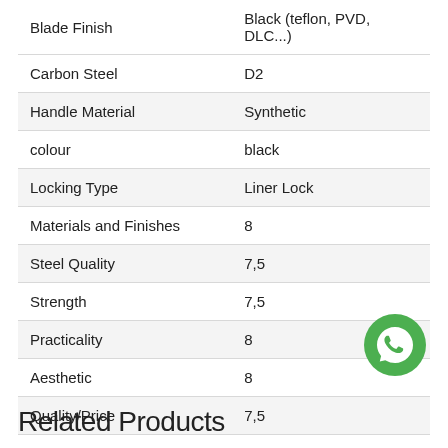| Attribute | Value |
| --- | --- |
| Blade Finish | Black (teflon, PVD, DLC...) |
| Carbon Steel | D2 |
| Handle Material | Synthetic |
| colour | black |
| Locking Type | Liner Lock |
| Materials and Finishes | 8 |
| Steel Quality | 7,5 |
| Strength | 7,5 |
| Practicality | 8 |
| Aesthetic | 8 |
| Quality/Price | 7,5 |
Related Products